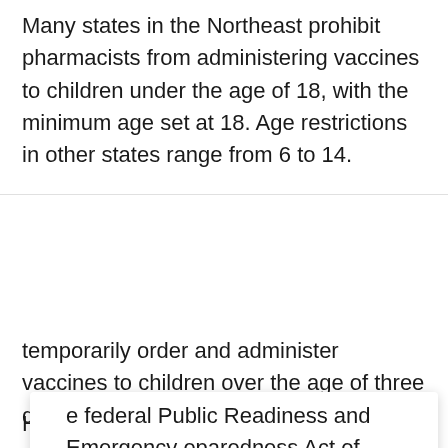Many states in the Northeast prohibit pharmacists from administering vaccines to children under the age of 18, with the minimum age set at 18. Age restrictions in other states range from 6 to 14.
e federal Public Readiness and Emergency eparedness Act of June 2021 modified these restrictions, allowing pharmacists to temporarily order and administer vaccines to children over the age of three during a public health emergency.
However, a sizable number of children who are eligible for a COVID-19 shot will be unable to